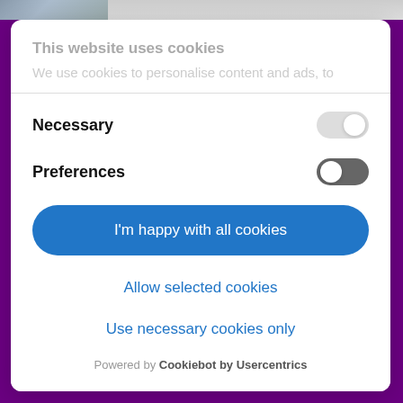[Figure (screenshot): Partially visible top image strip showing a person in the background]
This website uses cookies
We use cookies to personalise content and ads, to
Necessary
Preferences
I'm happy with all cookies
Allow selected cookies
Use necessary cookies only
Powered by Cookiebot by Usercentrics